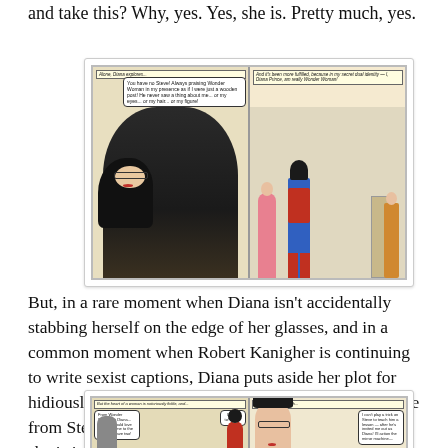and take this? Why, yes. Yes, she is. Pretty much, yes.
[Figure (illustration): Two-panel comic strip showing Diana/Wonder Woman. Left panel: Diana in glasses and dark outfit with speech bubble text. Right panel: Wonder Woman in costume with other figures.]
But, in a rare moment when Diana isn't accidentally stabbing herself on the edge of her glasses, and in a common moment when Robert Kanigher is continuing to write sexist captions, Diana puts aside her plot for hidiously demeaning revenge and instead accepts a date from Steve. A date that tells her exactly how worthy she is in Steve's eyes...one hundred dollars, worth, in fact. (And that's in 1962 money!)
[Figure (illustration): Two-panel comic strip showing Wonder Woman and Diana. Left panel: dialogue about going to a boxing match. Right panel: close-up of Diana's face with speech bubbles.]